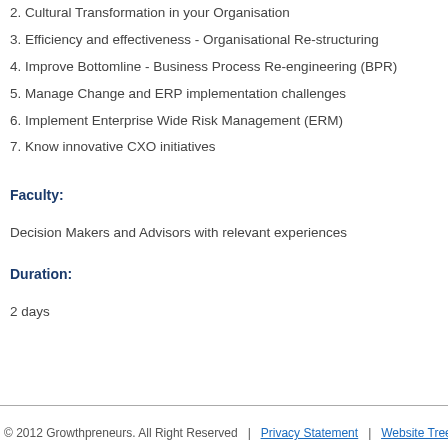2. Cultural Transformation in your Organisation
3. Efficiency and effectiveness - Organisational Re-structuring
4. Improve Bottomline - Business Process Re-engineering (BPR)
5. Manage Change and ERP implementation challenges
6. Implement Enterprise Wide Risk Management (ERM)
7. Know innovative CXO initiatives
Faculty:
Decision Makers and Advisors with relevant experiences
Duration:
2 days
© 2012 Growthpreneurs. All Right Reserved  |  Privacy Statement  |  Website Tree